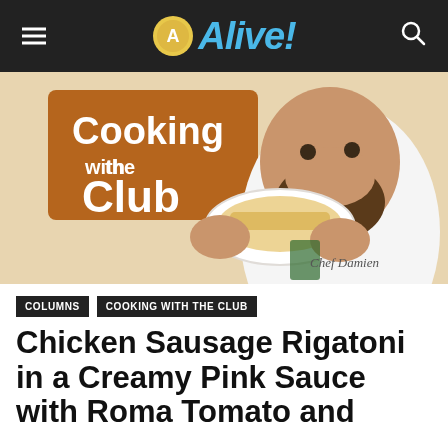Alive!
[Figure (photo): A smiling bearded chef in a white coat holding up a white plate of pasta toward the camera. A brown sign in the upper left reads 'Cooking with the Club' in white text.]
COLUMNS   COOKING WITH THE CLUB
Chicken Sausage Rigatoni in a Creamy Pink Sauce with Roma Tomato and